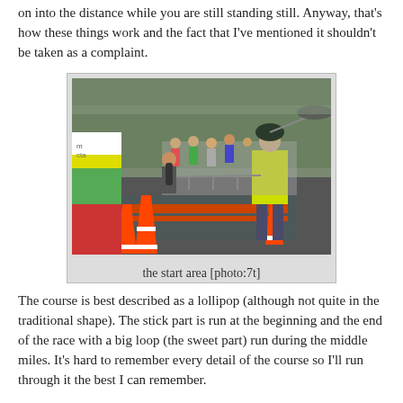on into the distance while you are still standing still. Anyway, that's how these things work and the fact that I've mentioned it shouldn't be taken as a complaint.
[Figure (photo): A crowd of runners gathered at a race start area on a wet road. Traffic cones and barriers are visible in the foreground. A race marshal in a hi-vis yellow jacket stands to the right. Trees line the background.]
the start area [photo:7t]
The course is best described as a lollipop (although not quite in the traditional shape). The stick part is run at the beginning and the end of the race with a big loop (the sweet part) run during the middle miles. It's hard to remember every detail of the course so I'll run through it the best I can remember.
The first kilometre was slightly downhill with the following 3